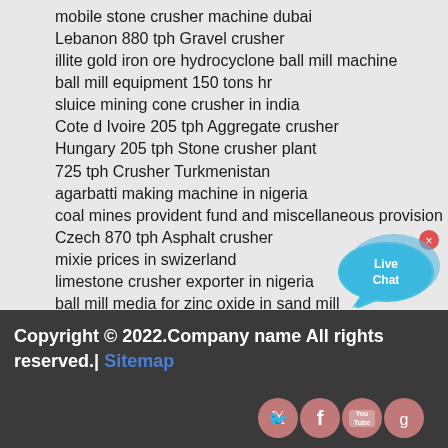mobile stone crusher machine dubai
Lebanon 880 tph Gravel crusher
illite gold iron ore hydrocyclone ball mill machine
ball mill equipment 150 tons hr
sluice mining cone crusher in india
Cote d Ivoire 205 tph Aggregate crusher
Hungary 205 tph Stone crusher plant
725 tph Crusher Turkmenistan
agarbatti making machine in nigeria
coal mines provident fund and miscellaneous provision
Czech 870 tph Asphalt crusher
mixie prices in swizerland
limestone crusher exporter in nigeria
ball mill media for zinc oxide in sand mill
[Figure (infographic): Live Chat bubble widget in cyan/blue with white text 'Live Chat' and a close (x) button]
Copyright © 2022.Company name All rights reserved.| Sitemap
[Figure (infographic): Four social media icons (Twitter, Facebook, YouTube, Google+) as pink/rose circular buttons]